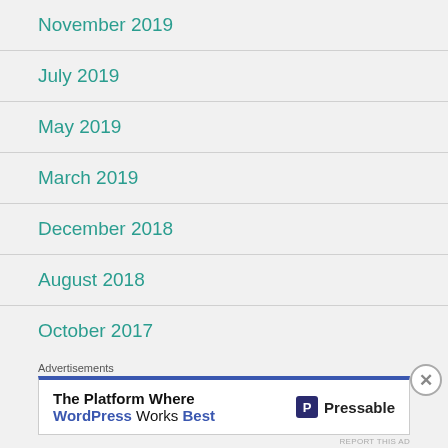November 2019
July 2019
May 2019
March 2019
December 2018
August 2018
October 2017
September 2017
November 2016
Advertisements
[Figure (other): Pressable advertisement banner: 'The Platform Where WordPress Works Best' with Pressable logo]